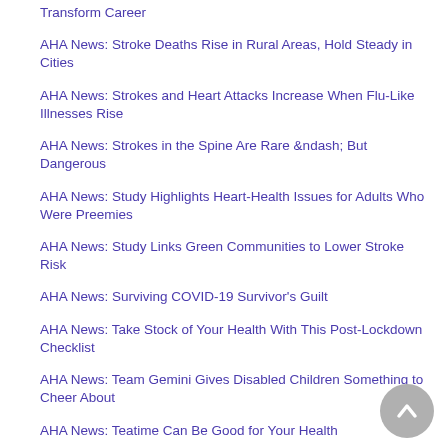Transform Career
AHA News: Stroke Deaths Rise in Rural Areas, Hold Steady in Cities
AHA News: Strokes and Heart Attacks Increase When Flu-Like Illnesses Rise
AHA News: Strokes in the Spine Are Rare &ndash; But Dangerous
AHA News: Study Highlights Heart-Health Issues for Adults Who Were Preemies
AHA News: Study Links Green Communities to Lower Stroke Risk
AHA News: Surviving COVID-19 Survivor's Guilt
AHA News: Take Stock of Your Health With This Post-Lockdown Checklist
AHA News: Team Gemini Gives Disabled Children Something to Cheer About
AHA News: Teatime Can Be Good for Your Health
AHA News: The Head Is Connected to the Heart – and Can…